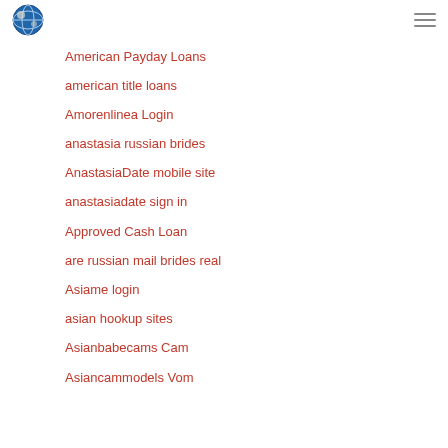Logo and navigation menu icon
American Payday Loans
american title loans
Amorenlinea Login
anastasia russian brides
AnastasiaDate mobile site
anastasiadate sign in
Approved Cash Loan
are russian mail brides real
Asiame login
asian hookup sites
Asianbabecams Cam
Asiancammodels Vom